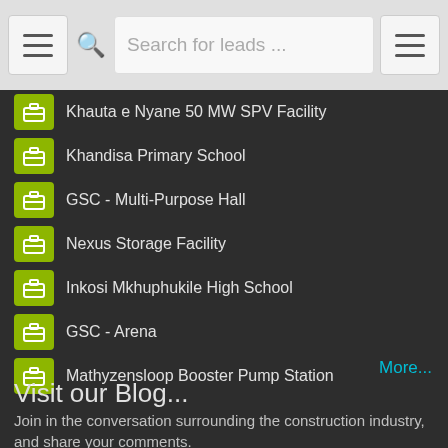Search for leads ...
Khauta e Nyane 50 MW SPV Facility
Khandisa Primary School
GSC - Multi-Purpose Hall
Nexus Storage Facility
Inkosi Mkhuphukile High School
GSC - Arena
Mathyzensloop Booster Pump Station
More...
Visit our Blog...
Join in the conversation surrounding the construction industry, and share your comments.
Read News Now...
About L2B
Our comprehensive online resource platform delivers daily leads...